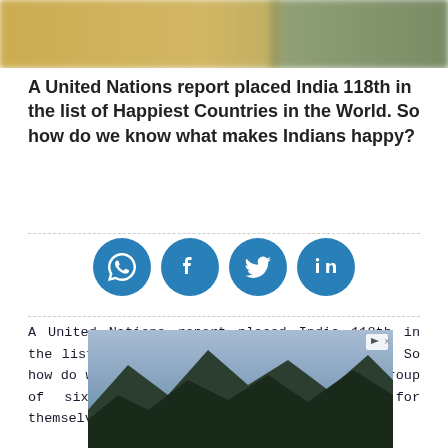[Figure (photo): Hero image at top of page showing a blurred landscape with golden/yellowish tones on the left and greenish tones on the right]
A United Nations report placed India 118th in the list of Happiest Countries in the World. So how do we know what makes Indians happy?
[Figure (infographic): Four blue circular social media share icons: WhatsApp, Facebook, Twitter, LinkedIn]
A United Nations report placed India 118th in the list of Happiest Countries in the World. So how do we know what makes Indians happy? A group of six friends decided to find out for themselves in one epic journey.
[Figure (photo): Advertisement image showing a mountain landscape with dark mountains and sky, with an ad play icon and close icon in top right corner]